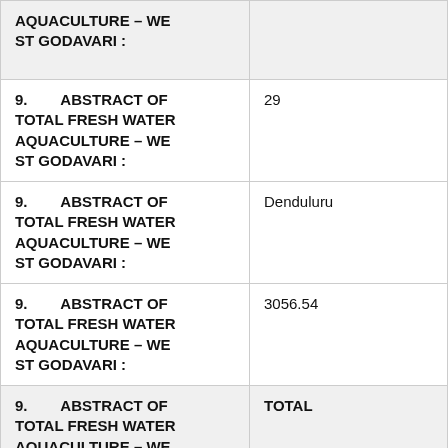| Field | Value |
| --- | --- |
| 9.  ABSTRACT OF TOTAL FRESH WATER AQUACULTURE – WEST GODAVARI : |  |
| 9.  ABSTRACT OF TOTAL FRESH WATER AQUACULTURE – WEST GODAVARI : | 29 |
| 9.  ABSTRACT OF TOTAL FRESH WATER AQUACULTURE – WEST GODAVARI : | Denduluru |
| 9.  ABSTRACT OF TOTAL FRESH WATER AQUACULTURE – WEST GODAVARI : | 3056.54 |
| 9.  ABSTRACT OF TOTAL FRESH WATER AQUACULTURE – WEST GODAVARI : | TOTAL |
| 9.  ABSTRACT OF TOTAL FRESH WATER AQUACULTURE – | 67,518.30 hect |